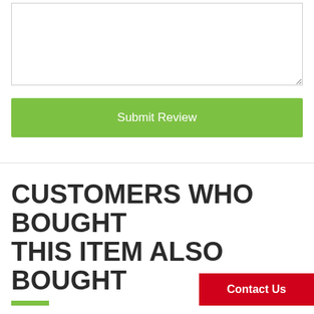[Figure (screenshot): A textarea input box with a resize handle in the bottom-right corner, for entering a review.]
Submit Review
CUSTOMERS WHO BOUGHT THIS ITEM ALSO BOUGHT
Contact Us